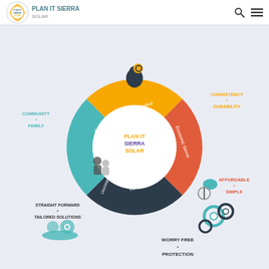Plan It Sierra Solar — navigation header with logo, search, and menu icons
[Figure (infographic): Circular wheel infographic for Plan It Sierra Solar with four segments labeled Peace of Mind, Economic Sense, You're Covered, and Growing Together/Uncomplicated, surrounding a center circle with PLAN IT SIERRA SOLAR text. Four surrounding text sections describe Community + Family, Consistency + Durability, Affordable + Simple, Straight Forward + Tailored Solutions, and Worry Free + Protection.]